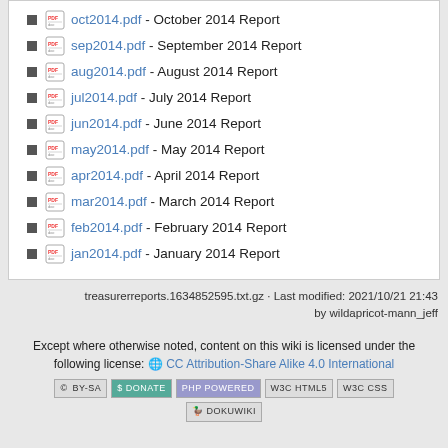oct2014.pdf - October 2014 Report
sep2014.pdf - September 2014 Report
aug2014.pdf - August 2014 Report
jul2014.pdf - July 2014 Report
jun2014.pdf - June 2014 Report
may2014.pdf - May 2014 Report
apr2014.pdf - April 2014 Report
mar2014.pdf - March 2014 Report
feb2014.pdf - February 2014 Report
jan2014.pdf - January 2014 Report
treasurerreports.1634852595.txt.gz · Last modified: 2021/10/21 21:43 by wildapricot-mann_jeff
Except where otherwise noted, content on this wiki is licensed under the following license: CC Attribution-Share Alike 4.0 International